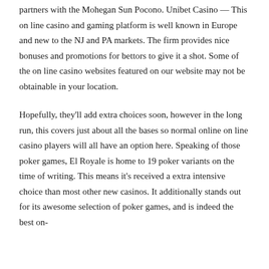partners with the Mohegan Sun Pocono. Unibet Casino — This on line casino and gaming platform is well known in Europe and new to the NJ and PA markets. The firm provides nice bonuses and promotions for bettors to give it a shot. Some of the on line casino websites featured on our website may not be obtainable in your location.
Hopefully, they'll add extra choices soon, however in the long run, this covers just about all the bases so normal online on line casino players will all have an option here. Speaking of those poker games, El Royale is home to 19 poker variants on the time of writing. This means it's received a extra intensive choice than most other new casinos. It additionally stands out for its awesome selection of poker games, and is indeed the best on-